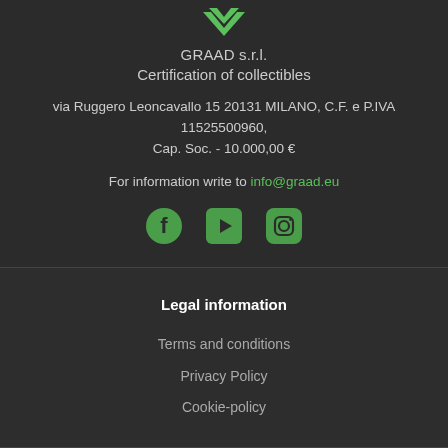[Figure (logo): Green downward chevron/arrow logo for GRAAD s.r.l.]
GRAAD s.r.l.
Certification of collectibles
via Ruggero Leoncavallo 15 20131 MILANO, C.F. e P.IVA 11525500960, Cap. Soc. - 10.000,00 €
For information write to info@graad.eu
[Figure (infographic): Social media icons: Facebook, YouTube, Instagram]
Legal information
Terms and conditions
Privacy Policy
Cookie-policy